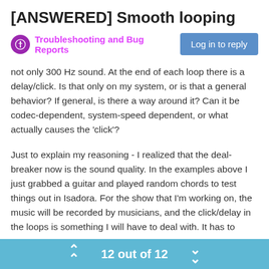[ANSWERED] Smooth looping
Troubleshooting and Bug Reports
Log in to reply
not only 300 Hz sound. At the end of each loop there is a delay/click. Is that only on my system, or is that a general behavior? If general, is there a way around it? Can it be codec-dependent, system-speed dependent, or what actually causes the 'click'?
Just to explain my reasoning - I realized that the deal-breaker now is the sound quality. In the examples above I just grabbed a guitar and played random chords to test things out in Isadora. For the show that I'm working on, the music will be recorded by musicians, and the click/delay in the loops is something I will have to deal with. It has to sound just right. I have an idea how to workaround the click using the Envelope Generator actor, but it's quite a convoluted solution that I'd like to avoid. I'd much rather find out why is there a click/delay between the loop in the first place.
12 out of 12